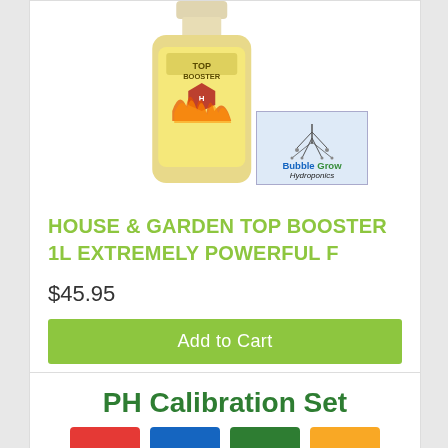[Figure (photo): House & Garden Top Booster 1L bottle product photo with Bubble Grow Hydroponics watermark badge]
HOUSE & GARDEN TOP BOOSTER 1L EXTREMELY POWERFUL F
$45.95
Add to Cart
[Figure (photo): PH Calibration Set product card showing colored caps (red, blue, green, yellow)]
PH Calibration Set